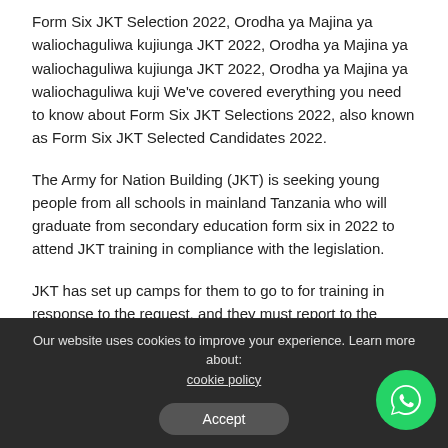Form Six JKT Selection 2022, Orodha ya Majina ya waliochaguliwa kujiunga JKT 2022, Orodha ya Majina ya waliochaguliwa kujiunga JKT 2022, Orodha ya Majina ya waliochaguliwa kuji We've covered everything you need to know about Form Six JKT Selections 2022, also known as Form Six JKT Selected Candidates 2022.
The Army for Nation Building (JKT) is seeking young people from all schools in mainland Tanzania who will graduate from secondary education form six in 2022 to attend JKT training in compliance with the legislation.
JKT has set up camps for them to go to for training in response to the request, and they must report to the camps from June 1 to June 10, 2021.
Our website uses cookies to improve your experience. Learn more about: cookie policy | Accept